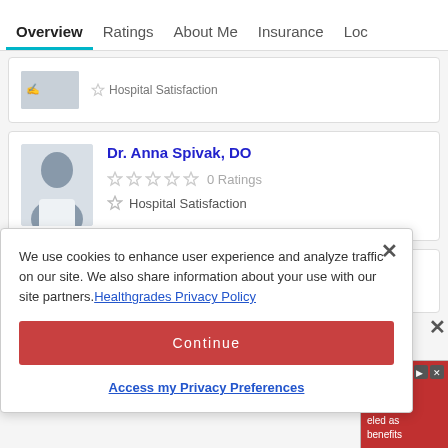Overview  Ratings  About Me  Insurance  Loc
[Figure (photo): Partial doctor card with small thumbnail image and Hospital Satisfaction row (top, partially visible)]
Hospital Satisfaction
[Figure (photo): Doctor profile photo silhouette for Dr. Anna Spivak, DO]
Dr. Anna Spivak, DO
0 Ratings
Hospital Satisfaction
[Figure (photo): Partial doctor card for Dr. Sarlish Martha, MD (partially visible)]
We use cookies to enhance user experience and analyze traffic on our site. We also share information about your use with our site partners. Healthgrades Privacy Policy
Continue
Access my Privacy Preferences